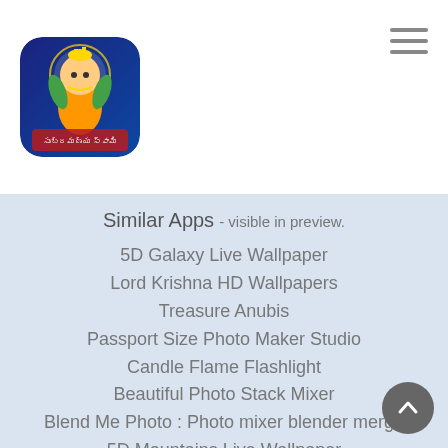[Figure (illustration): App icon for a Telugu devotional app showing Lord Subramanya Swamy with Telugu text, colorful illustration on dark blue background with rounded corners]
Similar Apps - visible in preview.
5D Galaxy Live Wallpaper
Lord Krishna HD Wallpapers
Treasure Anubis
Passport Size Photo Maker Studio
Candle Flame Flashlight
Beautiful Photo Stack Mixer
Blend Me Photo : Photo mixer blender merge
5D Mountains Live Wallpaper
5D Glitter Live Wallpaper
5D Flowers Live Wallpaper
5D Diamond Live Wallpaper